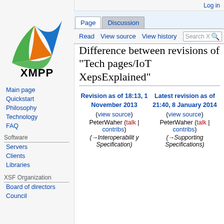Log in
[Figure (logo): XMPP logo with colorful swoosh design and XMPP text]
Main page
Quickstart
Philosophy
Technology
FAQ
Software
Servers
Clients
Libraries
XSF Organization
Board of directors
Council
Difference between revisions of "Tech pages/IoT XepsExplained"
| Revision as of 18:13, 1 November 2013 | Latest revision as of 21:40, 8 January 2014 |
| --- | --- |
| (view source) | (view source) |
| PeterWaher (talk | contribs) | PeterWaher (talk | contribs) |
| (→Interoperability Specification) | (→Supporting Specifications) |